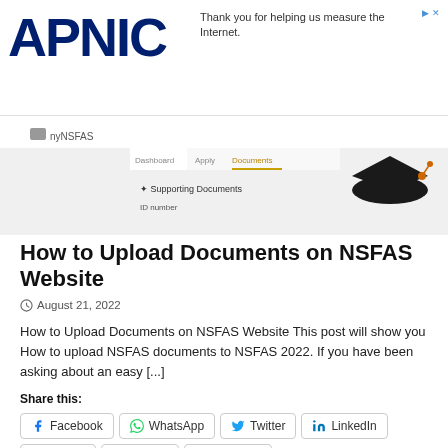[Figure (screenshot): APNIC logo and advertisement banner at top, followed by a screenshot of the myNSFAS website showing Supporting Documents section with ID number field and a graduation cap icon]
How to Upload Documents on NSFAS Website
August 21, 2022
How to Upload Documents on NSFAS Website This post will show you How to upload NSFAS documents to NSFAS 2022. If you have been asking about an easy [...]
Share this:
Facebook WhatsApp Twitter LinkedIn Reddit Tumblr Pinterest
Like this: